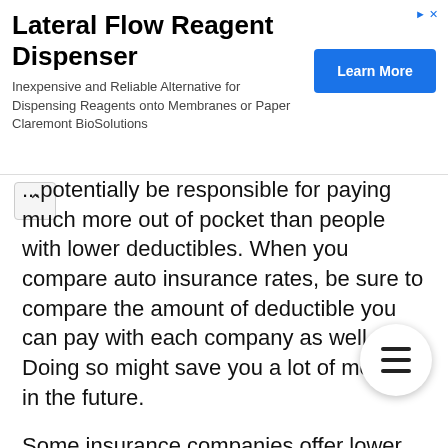[Figure (other): Advertisement banner for Lateral Flow Reagent Dispenser by Claremont BioSolutions with a Learn More button]
...potentially be responsible for paying much more out of pocket than people with lower deductibles. When you compare auto insurance rates, be sure to compare the amount of deductible you can pay with each company as well. Doing so might save you a lot of money in the future.
Some insurance companies offer lower premiums if you meet certain factors. If you have repeatedly proven that you are a safe driver, your insurance premium might be lowered. When shopping for insurance, compare auto insurance companies to see if they have discounts for doing things in addition to driving safely.